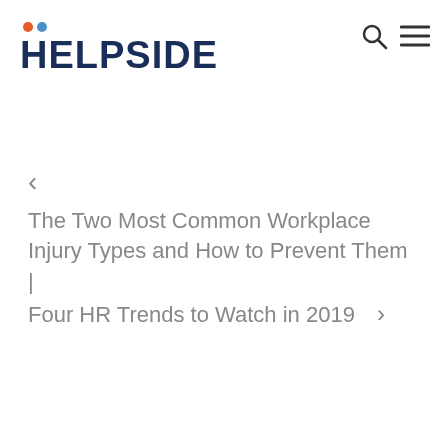[Figure (logo): Helpside logo with orange and blue dots above the H, dark navy bold text]
< The Two Most Common Workplace Injury Types and How to Prevent Them | Four HR Trends to Watch in 2019 >